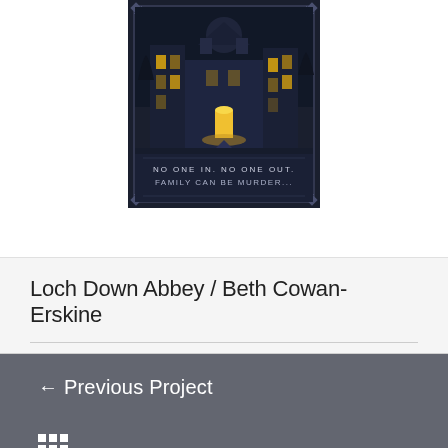[Figure (illustration): Book cover of 'Loch Down Abbey' by Beth Cowan-Erskine showing a dark gothic mansion at night with lit windows and text 'NO ONE IN. NO ONE OUT. FAMILY CAN BE MURDER...']
Loch Down Abbey / Beth Cowan-Erskine
← Previous Project
[Figure (other): 3x3 grid icon (navigation)]
Next Project →